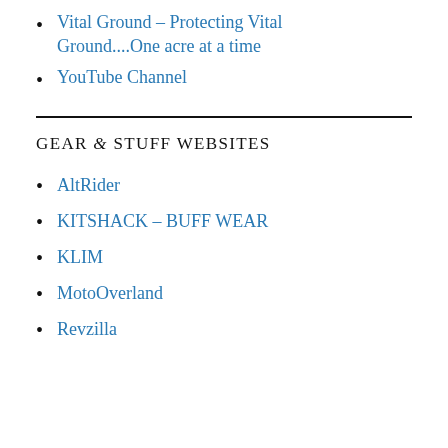Vital Ground – Protecting Vital Ground....One acre at a time
YouTube Channel
GEAR & STUFF WEBSITES
AltRider
KITSHACK – BUFF WEAR
KLIM
MotoOverland
Revzilla